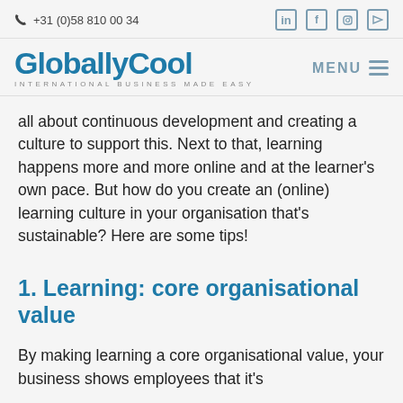📞 +31 (0)58 810 00 34
[Figure (logo): GloballyCool logo with tagline INTERNATIONAL BUSINESS MADE EASY and MENU navigation button]
all about continuous development and creating a culture to support this. Next to that, learning happens more and more online and at the learner's own pace. But how do you create an (online) learning culture in your organisation that's sustainable? Here are some tips!
1. Learning: core organisational value
By making learning a core organisational value, your business shows employees that it's